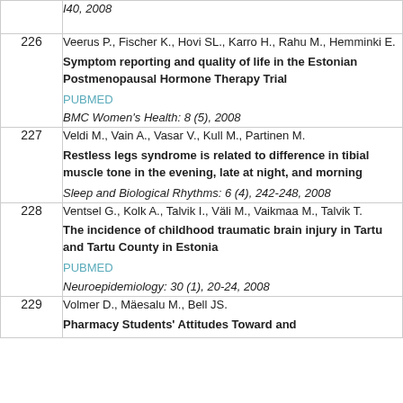| # | Reference |
| --- | --- |
|  | I40, 2008 |
| 226 | Veerus P., Fischer K., Hovi SL., Karro H., Rahu M., Hemminki E.
Symptom reporting and quality of life in the Estonian Postmenopausal Hormone Therapy Trial
PUBMED
BMC Women's Health: 8 (5), 2008 |
| 227 | Veldi M., Vain A., Vasar V., Kull M., Partinen M.
Restless legs syndrome is related to difference in tibial muscle tone in the evening, late at night, and morning
Sleep and Biological Rhythms: 6 (4), 242-248, 2008 |
| 228 | Ventsel G., Kolk A., Talvik I., Väli M., Vaikmaa M., Talvik T.
The incidence of childhood traumatic brain injury in Tartu and Tartu County in Estonia
PUBMED
Neuroepidemiology: 30 (1), 20-24, 2008 |
| 229 | Volmer D., Mäesalu M., Bell JS.
Pharmacy Students' Attitudes Toward and |